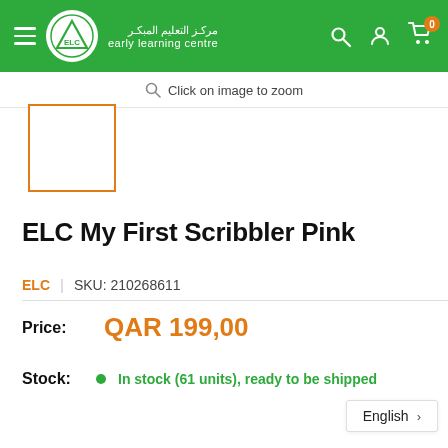[Figure (logo): Early Learning Centre (ELC) logo in green header with Arabic and English text]
Click on image to zoom
[Figure (other): Product thumbnail placeholder with orange border]
ELC My First Scribbler Pink
ELC  |  SKU: 210268611
Price: QAR 199,00
Stock: In stock (61 units), ready to be shipped
English >